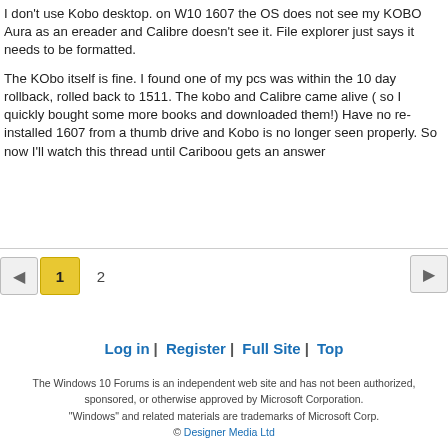I don't use Kobo desktop. on W10 1607 the OS does not see my KOBO Aura as an ereader and Calibre doesn't see it. File explorer just says it needs to be formatted.

The KObo itself is fine. I found one of my pcs was within the 10 day rollback, rolled back to 1511. The kobo and Calibre came alive ( so I quickly bought some more books and downloaded them!) Have no re-installed 1607 from a thumb drive and Kobo is no longer seen properly. So now I'll watch this thread until Cariboou gets an answer
◀ 1 2 ▶
Log in | Register | Full Site | Top
The Windows 10 Forums is an independent web site and has not been authorized, sponsored, or otherwise approved by Microsoft Corporation. "Windows" and related materials are trademarks of Microsoft Corp. © Designer Media Ltd